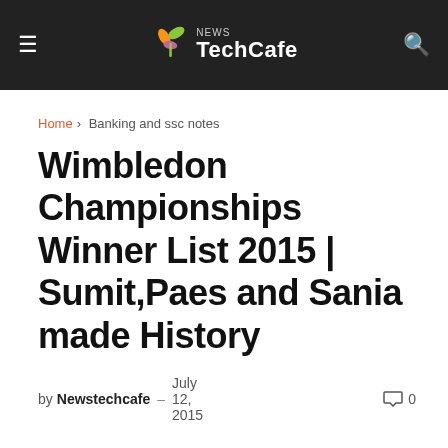News TechCafe
Home > Banking and ssc notes
Wimbledon Championships Winner List 2015 | Sumit,Paes and Sania made History
by Newstechcafe – July 12, 2015    0